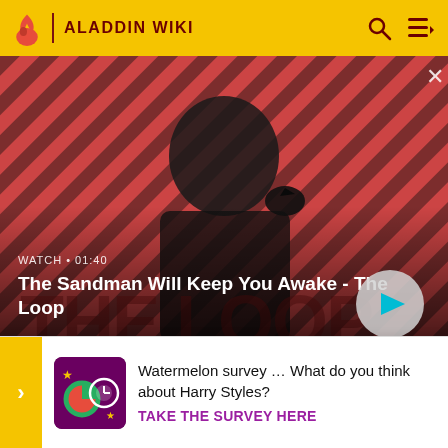ALADDIN WIKI
[Figure (screenshot): Video thumbnail showing The Sandman character with a raven on shoulder against a red diagonal striped background. Video title: The Sandman Will Keep You Awake - The Loop. Duration: 01:40.]
(which is scored by Hans Zimmer).
This is the first film in the franchise of the same na
[Figure (infographic): Survey banner: Watermelon survey … What do you think about Harry Styles? TAKE THE SURVEY HERE]